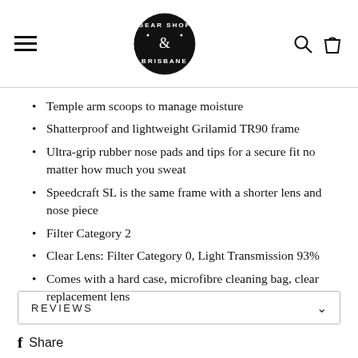Gear Shop Brisbane (logo)
Temple arm scoops to manage moisture
Shatterproof and lightweight Grilamid TR90 frame
Ultra-grip rubber nose pads and tips for a secure fit no matter how much you sweat
Speedcraft SL is the same frame with a shorter lens and nose piece
Filter Category 2
Clear Lens: Filter Category 0, Light Transmission 93%
Comes with a hard case, microfibre cleaning bag, clear replacement lens
REVIEWS
Share